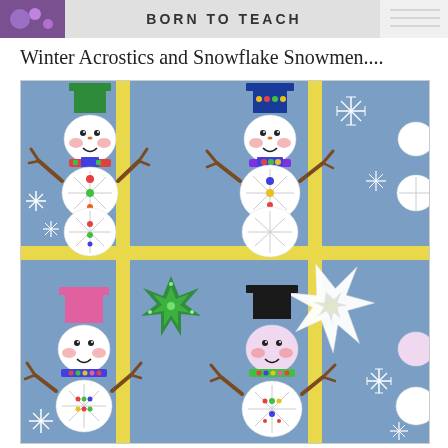[Figure (photo): Top banner strip showing partial purple graphic on left, bold stylized text in center on light gray background, and partial white sketch on right]
Winter Acrostics and Snowflake Snowmen....
[Figure (photo): Bulletin board display showing children's craft snowmen made from circles with snowflake patterns, colorful hats and scarves, brown stick arms, and paper snowflakes on blue background with yellow grid lines separating the individual student works. Bottom row shows partially completed snowmen and a large paper snowflake cutout.]